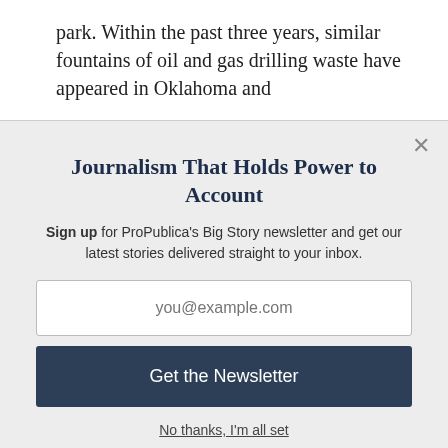park. Within the past three years, similar fountains of oil and gas drilling waste have appeared in Oklahoma and
Journalism That Holds Power to Account
Sign up for ProPublica's Big Story newsletter and get our latest stories delivered straight to your inbox.
you@example.com
Get the Newsletter
No thanks, I'm all set
This site is protected by reCAPTCHA and the Google Privacy Policy and Terms of Service apply.